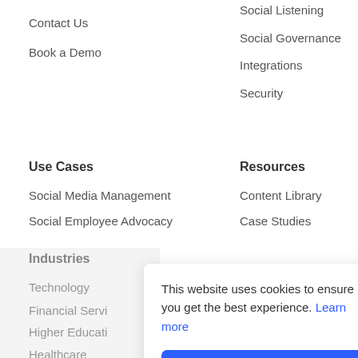Contact Us
Book a Demo
Social Listening
Social Governance
Integrations
Security
Use Cases
Social Media Management
Social Employee Advocacy
Resources
Content Library
Case Studies
Industries
Technology
Financial Servi
Higher Educati
Healthcare
Manufacturing
This website uses cookies to ensure you get the best experience. Learn more
Got it!